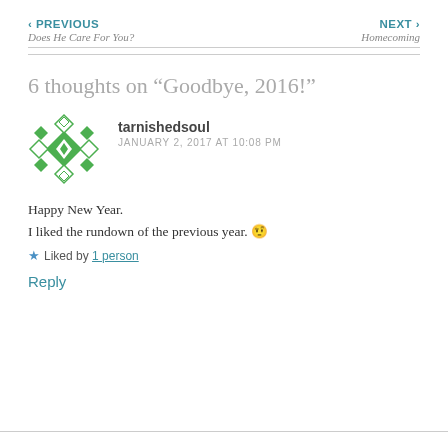‹ PREVIOUS
Does He Care For You?
NEXT ›
Homecoming
6 thoughts on “Goodbye, 2016!”
[Figure (illustration): Green diamond/rhombus pattern avatar icon for user tarnishedsoul]
tarnishedsoul
JANUARY 2, 2017 AT 10:08 PM
Happy New Year.
I liked the rundown of the previous year. 🤨
★ Liked by 1 person
Reply